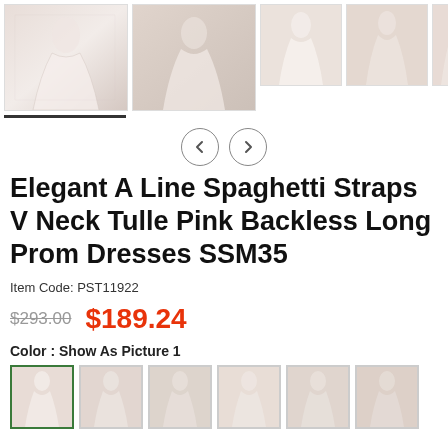[Figure (photo): Product image gallery row with 5 photos of pink tulle prom dress, first two larger and last three smaller thumbnails]
[Figure (other): Navigation arrows: left chevron and right chevron in circles]
Elegant A Line Spaghetti Straps V Neck Tulle Pink Backless Long Prom Dresses SSM35
Item Code: PST11922
$293.00  $189.24
Color : Show As Picture 1
[Figure (photo): Row of 6 small color variant thumbnails of the dress, first one selected with green border]